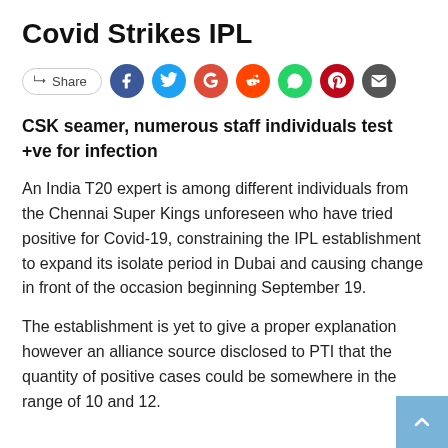Covid Strikes IPL
[Figure (infographic): Social share bar with Share button and icons for Facebook, Twitter, Google, Reddit, WhatsApp, Pinterest, and Email]
CSK seamer, numerous staff individuals test +ve for infection
An India T20 expert is among different individuals from the Chennai Super Kings unforeseen who have tried positive for Covid-19, constraining the IPL establishment to expand its isolate period in Dubai and causing change in front of the occasion beginning September 19.
The establishment is yet to give a proper explanation however an alliance source disclosed to PTI that the quantity of positive cases could be somewhere in the range of 10 and 12.